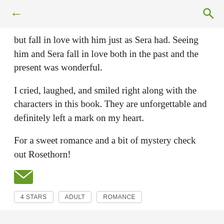← [back] [search]
but fall in love with him just as Sera had. Seeing him and Sera fall in love both in the past and the present was wonderful.
I cried, laughed, and smiled right along with the characters in this book. They are unforgettable and definitely left a mark on my heart.
For a sweet romance and a bit of mystery check out Rosethorn!
[Figure (illustration): Green envelope/mail icon]
4 STARS   ADULT   ROMANCE